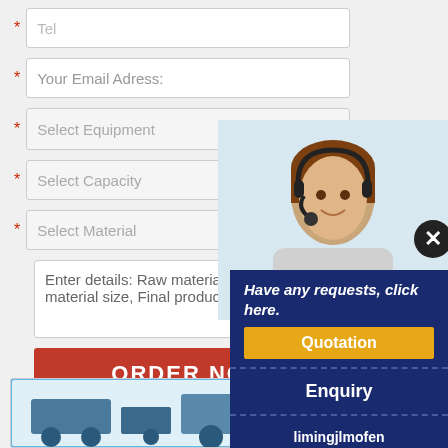Tel
Your Email Adress:
Select Equipment
Select Capacity
Select Material
Enter details: Raw material, Capacity, R material size, Final product size, etc.
ORDER NOW
Have any requests, click here.
Quotation
Enquiry
limingjlmofen@sina.com
[Figure (photo): Customer service agent woman with headset smiling]